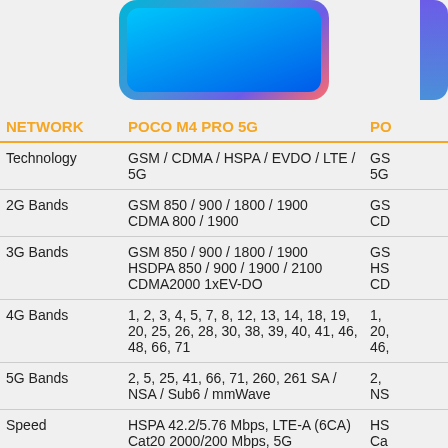[Figure (photo): Smartphone product image - POCO phone in blue/gradient color, shown from front, with part of another phone visible on the right edge]
| NETWORK | POCO M4 PRO 5G | PO |
| --- | --- | --- |
| Technology | GSM / CDMA / HSPA / EVDO / LTE / 5G | GS 5G |
| 2G Bands | GSM 850 / 900 / 1800 / 1900
CDMA 800 / 1900 | GS CD |
| 3G Bands | GSM 850 / 900 / 1800 / 1900
HSDPA 850 / 900 / 1900 / 2100
CDMA2000 1xEV-DO | GS HS CD |
| 4G Bands | 1, 2, 3, 4, 5, 7, 8, 12, 13, 14, 18, 19, 20, 25, 26, 28, 30, 38, 39, 40, 41, 46, 48, 66, 71 | 1, 20, 46, |
| 5G Bands | 2, 5, 25, 41, 66, 71, 260, 261 SA / NSA / Sub6 / mmWave | 2, NS |
| Speed | HSPA 42.2/5.76 Mbps, LTE-A (6CA) Cat20 2000/200 Mbps, 5G | HS Ca |